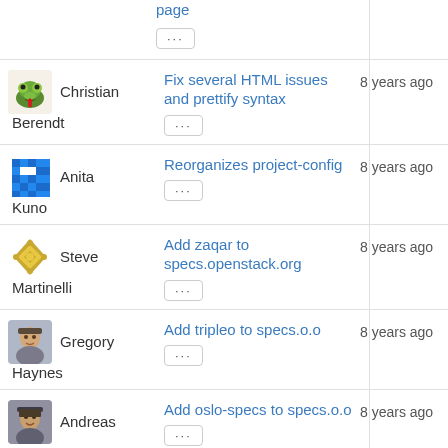page (link, cut off)
... (button)
Christian Berendt — Fix several HTML issues and prettify syntax — 8 years ago
Anita Kuno — Reorganizes project-config — 8 years ago
Steve Martinelli — Add zaqar to specs.openstack.org — 8 years ago
Gregory Haynes — Add tripleo to specs.o.o — 8 years ago
Andreas Jaeger — Add oslo-specs to specs.o.o — 8 years ago